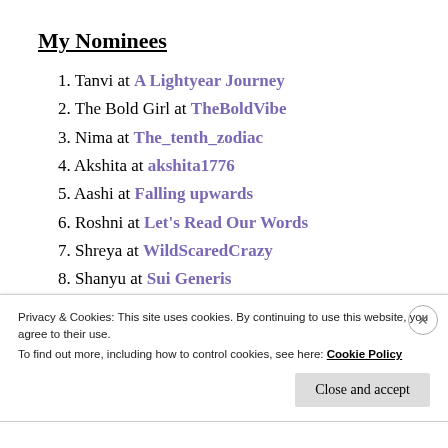My Nominees
1. Tanvi at A Lightyear Journey
2. The Bold Girl at TheBoldVibe
3. Nima at The_tenth_zodiac
4. Akshita at akshita1776
5. Aashi at Falling upwards
6. Roshni at Let's Read Our Words
7. Shreya at WildScaredCrazy
8. Shanyu at Sui Generis
Privacy & Cookies: This site uses cookies. By continuing to use this website, you agree to their use.
To find out more, including how to control cookies, see here: Cookie Policy
Close and accept